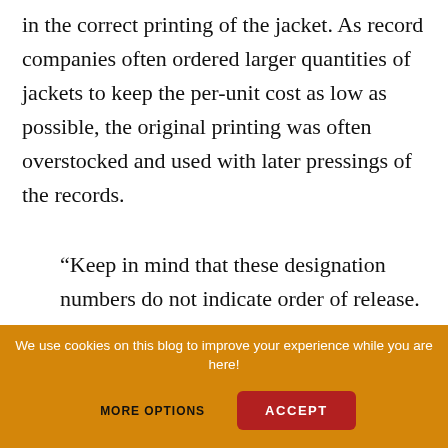in the correct printing of the jacket. As record companies often ordered larger quantities of jackets to keep the per-unit cost as low as possible, the original printing was often overstocked and used with later pressings of the records.
“Keep in mind that these designation numbers do not indicate order of release. Many cover slick printing factories were used simultaneously, and it is possible that any pressing could be put with any [jacket] number depending on
We use cookies on this blog to improve your experience while you are here!